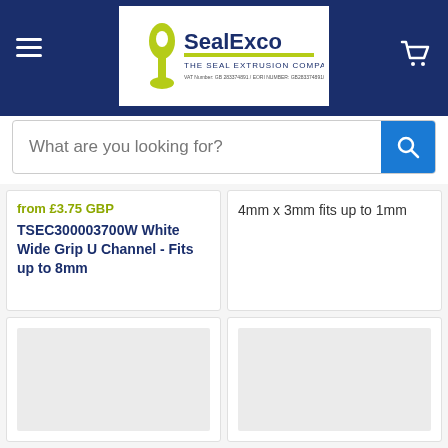SealExco - The Seal Extrusion Company
What are you looking for?
from £3.75 GBP
TSEC300003700W White Wide Grip U Channel - Fits up to 8mm
4mm x 3mm fits up to 1mm
[Figure (photo): Product image placeholder (loading)]
[Figure (photo): Product image placeholder (loading)]